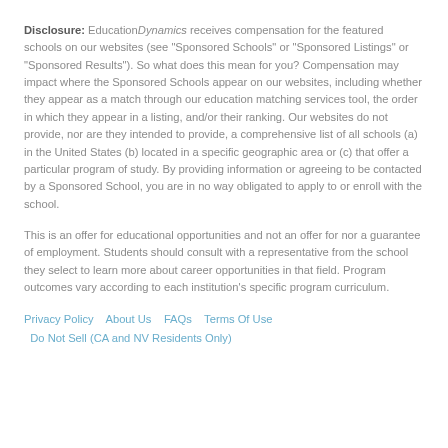Disclosure: EducationDynamics receives compensation for the featured schools on our websites (see "Sponsored Schools" or "Sponsored Listings" or "Sponsored Results"). So what does this mean for you? Compensation may impact where the Sponsored Schools appear on our websites, including whether they appear as a match through our education matching services tool, the order in which they appear in a listing, and/or their ranking. Our websites do not provide, nor are they intended to provide, a comprehensive list of all schools (a) in the United States (b) located in a specific geographic area or (c) that offer a particular program of study. By providing information or agreeing to be contacted by a Sponsored School, you are in no way obligated to apply to or enroll with the school.
This is an offer for educational opportunities and not an offer for nor a guarantee of employment. Students should consult with a representative from the school they select to learn more about career opportunities in that field. Program outcomes vary according to each institution's specific program curriculum.
Privacy Policy   About Us   FAQs   Terms Of Use   Do Not Sell (CA and NV Residents Only)